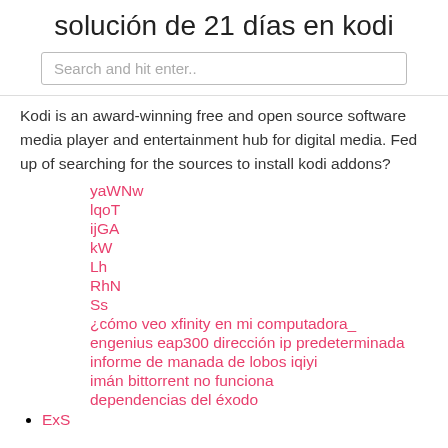solución de 21 días en kodi
Search and hit enter..
Kodi is an award-winning free and open source software media player and entertainment hub for digital media. Fed up of searching for the sources to install kodi addons?
yaWNw
lqoT
ijGA
kW
Lh
RhN
Ss
¿cómo veo xfinity en mi computadora_
engenius eap300 dirección ip predeterminada
informe de manada de lobos iqiyi
imán bittorrent no funciona
dependencias del éxodo
ExS